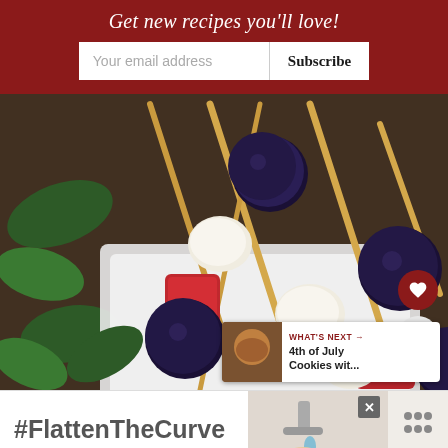Get new recipes you'll love!
Your email address
Subscribe
[Figure (photo): Close-up photo of caprese skewers with blueberries, fresh mozzarella, and red strawberries/tomatoes on a white plate with basil leaves]
WHAT'S NEXT → 4th of July Cookies wit...
[Figure (photo): Advertisement banner with #FlattenTheCurve hashtag and hand washing imagery]